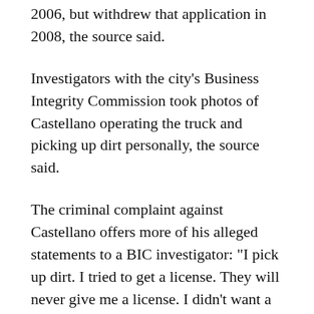2006, but withdrew that application in 2008, the source said.
Investigators with the city's Business Integrity Commission took photos of Castellano operating the truck and picking up dirt personally, the source said.
The criminal complaint against Castellano offers more of his alleged statements to a BIC investigator: "I pick up dirt. I tried to get a license. They will never give me a license. I didn't want a denial on my record so I withdrew the application from BIC. I own the company. I won't do it again."
Castellano's business is located at 2945 Richmond Terr. in Mariners Harbor, and he lives on the 300 block of Ashland Avenue in Prince's Bay.
According to a BIC official, Castellano's company